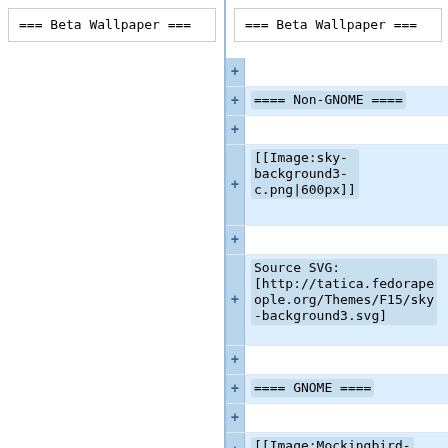=== Beta Wallpaper ===
=== Beta Wallpaper ===
+ (empty line)
+==== Non-GNOME ====
+ (empty line)
+[[Image:sky-background3-c.png|600px]]
+ (empty line)
+Source SVG: [http://tatica.fedorapeople.org/Themes/F15/sky-background3.svg]
+ (empty line)
+==== GNOME ====
+ (empty line)
+[[Image:Mockingbird-